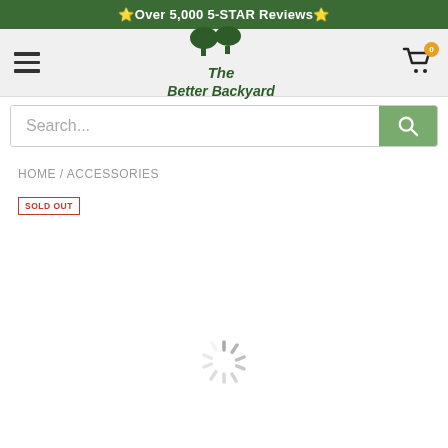🌟Over 5,000 5-STAR Reviews🌟
[Figure (logo): The Better Backyard logo with two green trees]
Search...
HOME / ACCESSORIES
SOLD OUT
[Figure (other): Loading spinner]